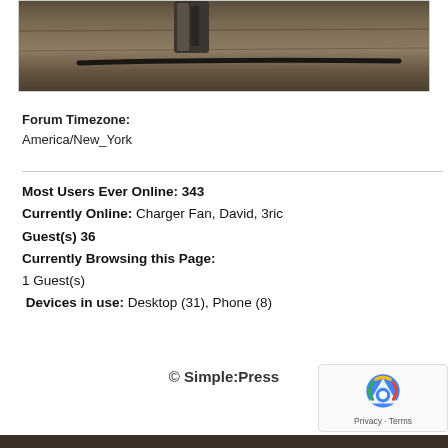[Figure (photo): Partial photo of a wooden surface with a dark metallic object and a dark cable/wire streak, shown at top of page inside a bordered box.]
Forum Timezone:
America/New_York
Most Users Ever Online: 343
Currently Online: Charger Fan, David, 3ric
Guest(s) 36
Currently Browsing this Page:
1 Guest(s)
Devices in use: Desktop (31), Phone (8)
© Simple:Press
[Figure (logo): reCAPTCHA logo with Privacy · Terms text]